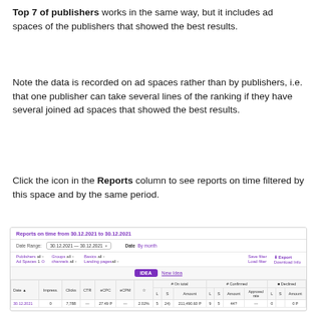Top 7 of publishers works in the same way, but it includes ad spaces of the publishers that showed the best results.
Note the data is recorded on ad spaces rather than by publishers, i.e. that one publisher can take several lines of the ranking if they have several joined ad spaces that showed the best results.
Click the icon in the Reports column to see reports on time filtered by this space and by the same period.
[Figure (screenshot): Screenshot of 'Reports on time from 30.12.2021 to 30.12.2021' interface showing date range filter, publisher/group/basics filters, a table with columns: Date, Impress., Clicks, CTR, eCPC, eCPM, and Actions/Amount split into On total, Confirmed, and Declined sub-columns. One data row visible: 30.12.2021, 0, 7,788, -, 27.49 P, -, 2.02%, 5, 24), 211,490.60 P, 9, 5, 44?, -, 0, P]